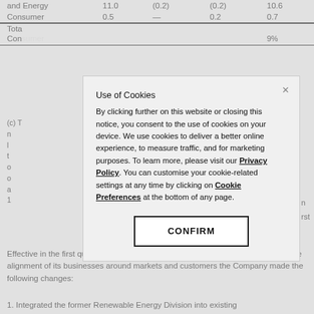|  |  | (0.2) | (0.2) |  |
| --- | --- | --- | --- | --- |
| and Energy | 11.0 | (0.2) | (0.2) | 10.6 |
| Consumer | 0.5 | — | 0.2 | 0.7 |
| Tota[l...] |  |  |  |  |
| Con[sumer...9%] |  |  |  | 9% |
(c) T[he...] n[...] l[...] t[...] d[...] o[...] a[...] first 1[...]
Effective in the first quarter of 2017, as part of 3M's continuing effort to improve the alignment of its businesses around markets and customers the Company made the following changes:
1. Integrated the former Renewable Energy Division into existing
[Figure (screenshot): Cookie consent overlay dialog with title 'Use of Cookies', body text explaining cookie usage with bold underlined links to Privacy Policy and Cookie Preferences, and a CONFIRM button.]